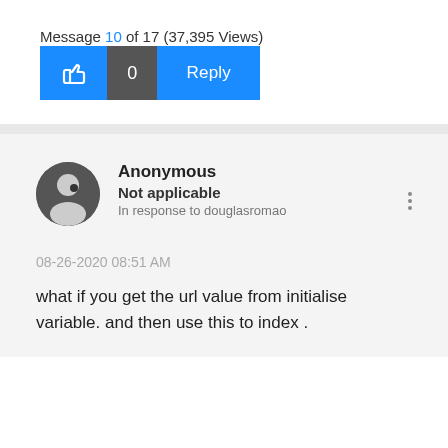Message 10 of 17 (37,395 Views)
[Figure (other): Like button with thumbs up icon and count 0, followed by a Reply button]
Anonymous
Not applicable
In response to douglasromao
08-26-2020 08:51 AM
what if you get the url value from initialise variable. and then use this to index .